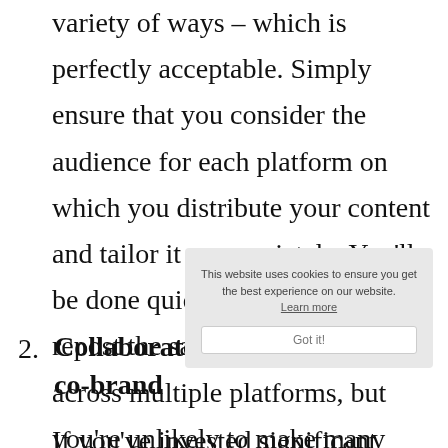variety of ways – which is perfectly acceptable. Simply ensure that you consider the audience for each platform on which you distribute your content and tailor it appropriately. You'll be done quickly if you simply repost the same content verbatim across multiple platforms, but you're unlikely to make many friends.
2. Collaborate with others and co-brand
If you've invested significant time and effort